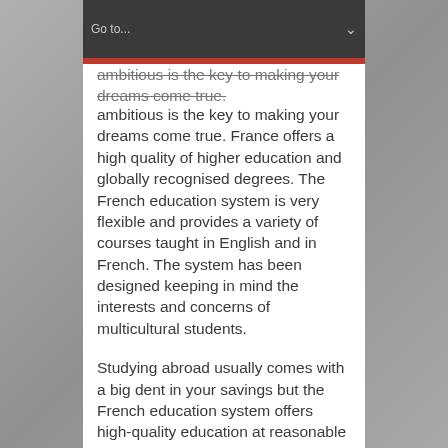Go to...
ambitious is the key to making your dreams come true. France offers a high quality of higher education and globally recognised degrees. The French education system is very flexible and provides a variety of courses taught in English and in French. The system has been designed keeping in mind the interests and concerns of multicultural students.
Studying abroad usually comes with a big dent in your savings but the French education system offers high-quality education at reasonable prices. To support your education and help you accomplish your goals, the government and other institutions provide a wide range of aids and grants.